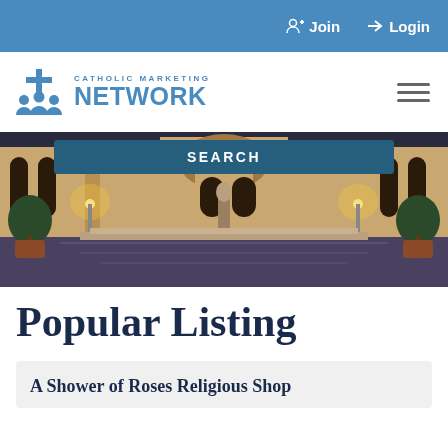Join  Login
[Figure (logo): Catholic Marketing Network logo with blue cross/people icon and blue text reading CATHOLIC MARKETING NETWORK]
[Figure (photo): Night photo of a classical European plaza or piazza, likely Vatican area, with illuminated stone buildings, columns, street lamps, and a wet reflective roadway]
SEARCH
Popular Listing
A Shower of Roses Religious Shop